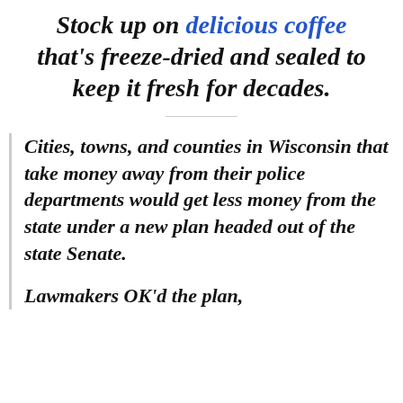Stock up on delicious coffee that's freeze-dried and sealed to keep it fresh for decades.
Cities, towns, and counties in Wisconsin that take money away from their police departments would get less money from the state under a new plan headed out of the state Senate.
Lawmakers OK'd the plan,